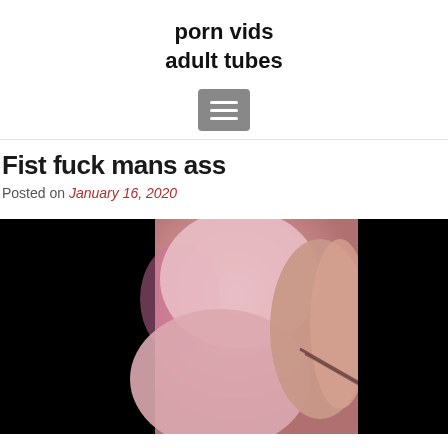porn vids
adult tubes
[Figure (other): Hamburger menu button (three horizontal lines on grey rounded rectangle background)]
Fist fuck mans ass
Posted on January 16, 2020
[Figure (photo): Close-up video thumbnail showing flesh-toned body parts against black background on left and right sides]